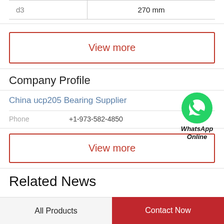| d3 | 270 mm |
View more
Company Profile
China ucp205 Bearing Supplier
[Figure (logo): WhatsApp green phone icon with text 'WhatsApp Online']
Phone   +1-973-582-4850
View more
Related News
All Products   Contact Now